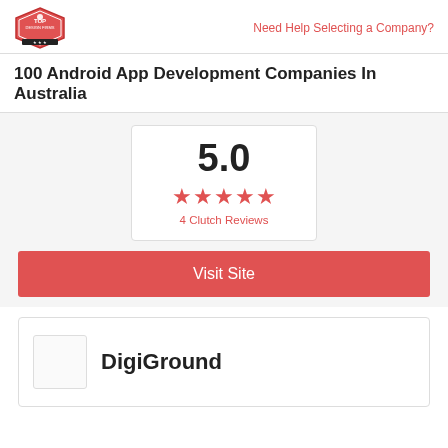Need Help Selecting a Company?
100 Android App Development Companies In Australia
5.0
4 Clutch Reviews
Visit Site
DigiGround